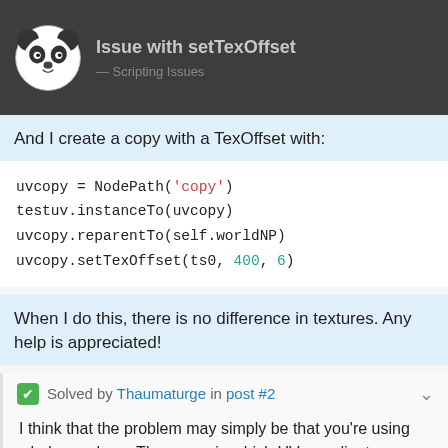Issue with setTexOffset
And I create a copy with a TexOffset with:
uvcopy = NodePath('copy')
testuv.instanceTo(uvcopy)
uvcopy.reparentTo(self.worldNP)
uvcopy.setTexOffset(ts0, 400, 6)
When I do this, there is no difference in textures. Any help is appreciated!
Solved by Thaumaturge in post #2
I think that the problem may simply be that you're using whole numbers: The space in which UV-coordinates operate isn't that of the associated texture's width and height. Instead, it's a normalised space: one in which the image in both width and height